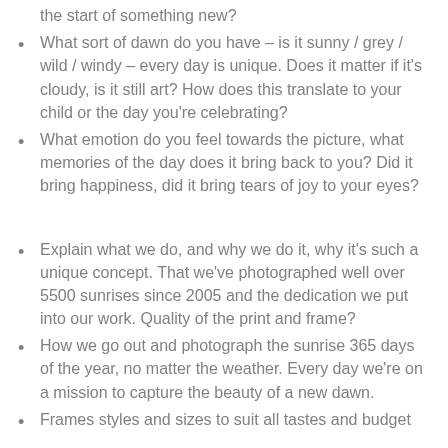the start of something new?
What sort of dawn do you have – is it sunny / grey / wild / windy – every day is unique. Does it matter if it's cloudy, is it still art? How does this translate to your child or the day you're celebrating?
What emotion do you feel towards the picture, what memories of the day does it bring back to you? Did it bring happiness, did it bring tears of joy to your eyes?
Explain what we do, and why we do it, why it's such a unique concept. That we've photographed well over 5500 sunrises since 2005 and the dedication we put into our work. Quality of the print and frame?
How we go out and photograph the sunrise 365 days of the year, no matter the weather. Every day we're on a mission to capture the beauty of a new dawn.
Frames styles and sizes to suit all tastes and budget